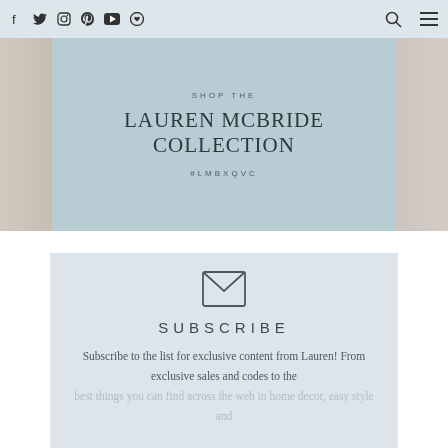Social media nav icons: Facebook, Twitter, Instagram, Pinterest, YouTube, Heart | Search icon | Menu icon
[Figure (photo): Banner image showing 'SHOP THE LAUREN MCBRIDE COLLECTION #LMBXQVC' on a muted blue-teal background with decorative home items on the sides]
SUBSCRIBE
Subscribe to the list for exclusive content from Lauren! From exclusive sales and codes to the best things you can find across the web in home decor, easy style and